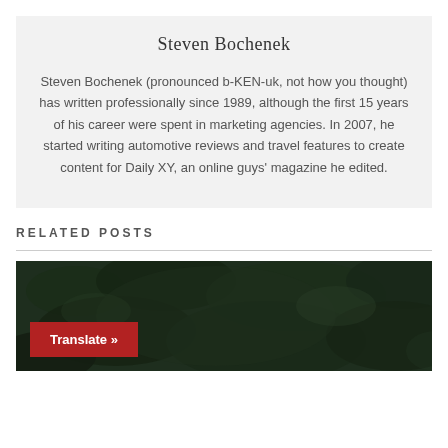Steven Bochenek
Steven Bochenek (pronounced b-KEN-uk, not how you thought) has written professionally since 1989, although the first 15 years of his career were spent in marketing agencies. In 2007, he started writing automotive reviews and travel features to create content for Daily XY, an online guys' magazine he edited.
RELATED POSTS
[Figure (photo): Dark green foliage background image with a red 'Translate »' button overlay in the lower left corner]